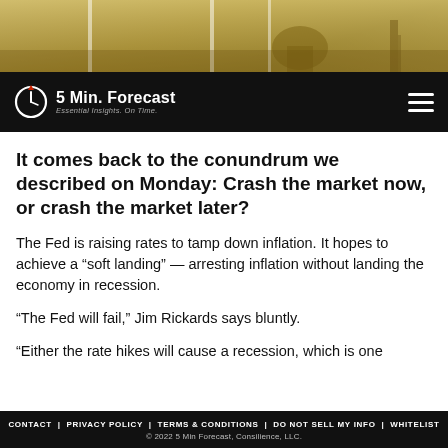[Figure (photo): Hero banner image showing a sepia/golden-toned cityscape with a domed building and a vertical column structure, with white vertical stripe overlays]
5 Min. Forecast — Essential Insights. On Time.
It comes back to the conundrum we described on Monday: Crash the market now, or crash the market later?
The Fed is raising rates to tamp down inflation. It hopes to achieve a “soft landing” — arresting inflation without landing the economy in recession.
“The Fed will fail,” Jim Rickards says bluntly.
“Either the rate hikes will cause a recession, which is one…
CONTACT | PRIVACY POLICY | TERMS & CONDITIONS | DO NOT SELL MY INFO | WHITELIST
© 2022 5 Min Forecast, Consilience, LLC.